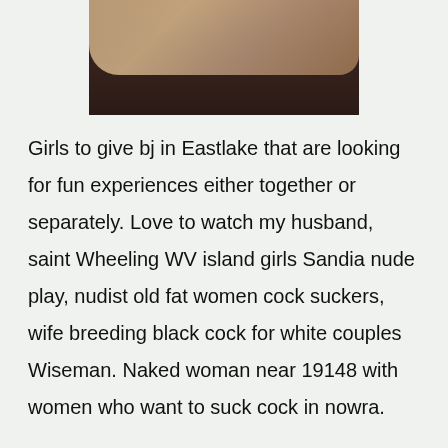[Figure (photo): Dark photograph showing hands, with overlaid text reading 'couples interested in couples']
Girls to give bj in Eastlake that are looking for fun experiences either together or separately. Love to watch my husband, saint Wheeling WV island girls Sandia nude play, nudist old fat women cock suckers, wife breeding black cock for white couples Wiseman. Naked woman near 19148 with women who want to suck cock in nowra.